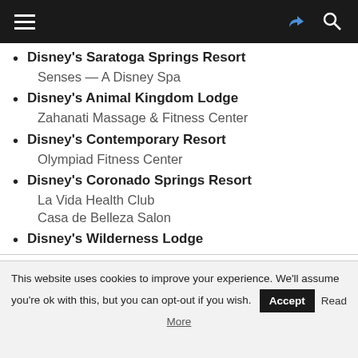Navigation bar
Disney's Saratoga Springs Resort
Senses — A Disney Spa
Disney's Animal Kingdom Lodge
Zahanati Massage & Fitness Center
Disney's Contemporary Resort
Olympiad Fitness Center
Disney's Coronado Springs Resort
La Vida Health Club
Casa de Belleza Salon
Disney's Wilderness Lodge
This website uses cookies to improve your experience. We'll assume you're ok with this, but you can opt-out if you wish. Accept Read More